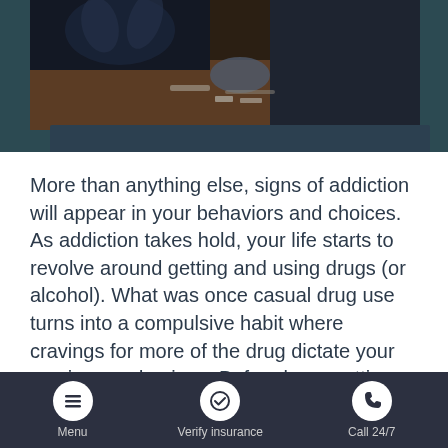[Figure (photo): Dark moody photo of two people sitting at a table across from each other, one person with hands raised, drug paraphernalia visible on the table, dark teal/navy background]
More than anything else, signs of addiction will appear in your behaviors and choices. As addiction takes hold, your life starts to revolve around getting and using drugs (or alcohol). What was once casual drug use turns into a compulsive habit where cravings for more of the drug dictate your comings and goings. Before long, getting the next “fix” will become so important that you’re willing to place anything and everything at risk, including your job, relationships,
Menu | Verify insurance | Call 24/7